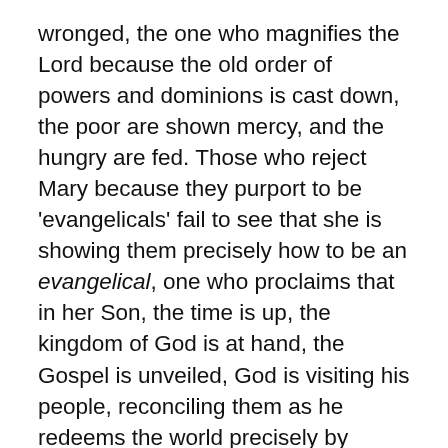wronged, the one who magnifies the Lord because the old order of powers and dominions is cast down, the poor are shown mercy, and the hungry are fed. Those who reject Mary because they purport to be 'evangelicals' fail to see that she is showing them precisely how to be an evangelical, one who proclaims that in her Son, the time is up, the kingdom of God is at hand, the Gospel is unveiled, God is visiting his people, reconciling them as he redeems the world precisely by drawing us into himself, his life suspended between nature and grace.
The Virgin is an evangelical because the Virgin preaches the Gospel, and she stands beside you. She is still preaching, you know, which means, as a Catholic friend I spoke with a few days ago put it to me, all Catholics should believe in women in ministry (the Holy Orders bit may be debatable, but in ministry? Well, yeah!). Those